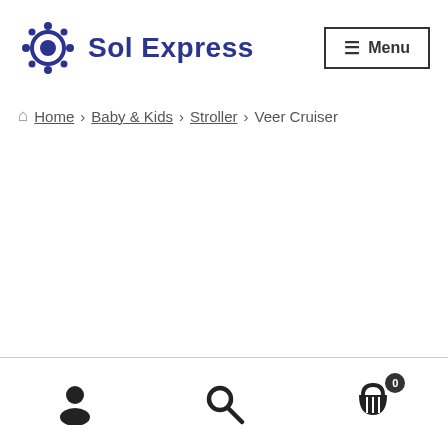Sol Express — Menu
Home > Baby & Kids > Stroller > Veer Cruiser
User icon | Search icon | Cart (0)